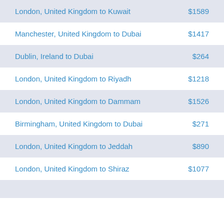| Route | Price |
| --- | --- |
| London, United Kingdom to Kuwait | $1589 |
| Manchester, United Kingdom to Dubai | $1417 |
| Dublin, Ireland to Dubai | $264 |
| London, United Kingdom to Riyadh | $1218 |
| London, United Kingdom to Dammam | $1526 |
| Birmingham, United Kingdom to Dubai | $271 |
| London, United Kingdom to Jeddah | $890 |
| London, United Kingdom to Shiraz | $1077 |